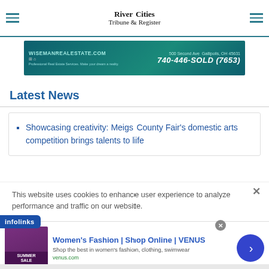River Cities Tribune & Register
[Figure (infographic): Wiseman Real Estate advertisement banner. WISEMANREALESTATE.COM with realtor logos. 500 Second Ave Gallipolis, OH 45631. Phone: 740-446-SOLD (7653)]
Latest News
Showcasing creativity: Meigs County Fair's domestic arts competition brings talents to life
This website uses cookies to enhance user experience to analyze performance and traffic on our website.
[Figure (infographic): Infolinks advertisement overlay. Women's Fashion | Shop Online | VENUS. Shop the best in women's fashion, clothing, swimwear. venus.com]